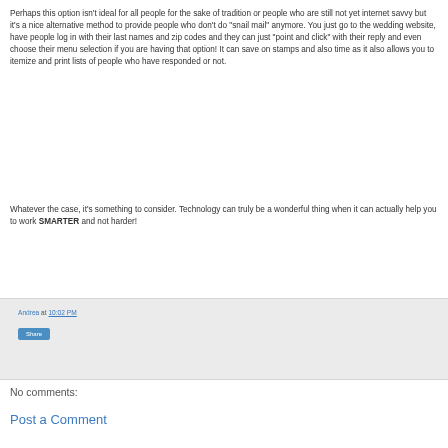Perhaps this option isn't ideal for all people for the sake of tradition or people who are still not yet internet savvy but it's a nice alternative method to provide people who don't do "snail mail" anymore. You just go to the wedding website, have people log in with their last names and zip codes and they can just "point and click" with their reply and even choose their menu selection if you are having that option! It can save on stamps and also time as it also allows you to itemize and print lists of people who have responded or not.
Whatever the case, it's something to consider. Technology can truly be a wonderful thing when it can actually help you to work SMARTER and not harder!
Andrea at 10:02 PM
Share
No comments:
Post a Comment